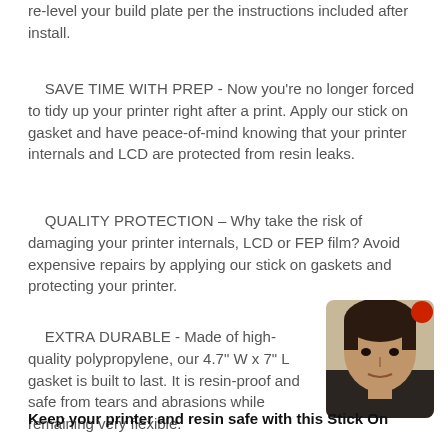re-level your build plate per the instructions included after install.
SAVE TIME WITH PREP - Now you’re no longer forced to tidy up your printer right after a print. Apply our stick on gasket and have peace-of-mind knowing that your printer internals and LCD are protected from resin leaks.
QUALITY PROTECTION – Why take the risk of damaging your printer internals, LCD or FEP film? Avoid expensive repairs by applying our stick on gaskets and protecting your printer.
EXTRA DURABLE - Made of high-quality polypropylene, our 4.7" W x 7" L gasket is built to last. It is resin-proof and safe from tears and abrasions while remaining very flexible.
[Figure (photo): Partially visible photo of a man with dark hair wearing a dark shirt, with a red notification dot in the top-right corner of the image]
Keep your printer and resin safe with this Stick On